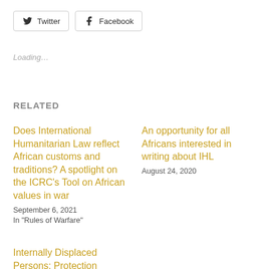[Figure (other): Twitter social share button with bird icon]
[Figure (other): Facebook social share button with f icon]
Loading...
RELATED
Does International Humanitarian Law reflect African customs and traditions? A spotlight on the ICRC's Tool on African values in war
September 6, 2021
In "Rules of Warfare"
An opportunity for all Africans interested in writing about IHL
August 24, 2020
Internally Displaced Persons: Protection